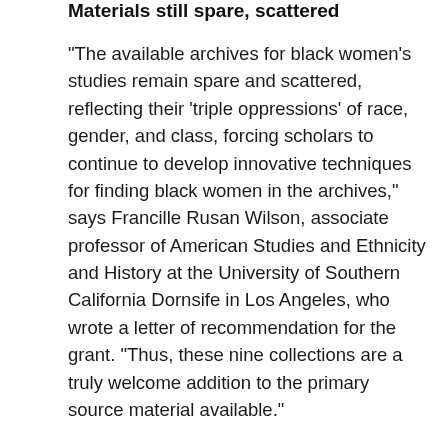Materials still spare, scattered
“The available archives for black women’s studies remain spare and scattered, reflecting their ‘triple oppressions’ of race, gender, and class, forcing scholars to continue to develop innovative techniques for finding black women in the archives,” says Francille Rusan Wilson, associate professor of American Studies and Ethnicity and History at the University of Southern California Dornsife in Los Angeles, who wrote a letter of recommendation for the grant. “Thus, these nine collections are a truly welcome addition to the primary source material available.”